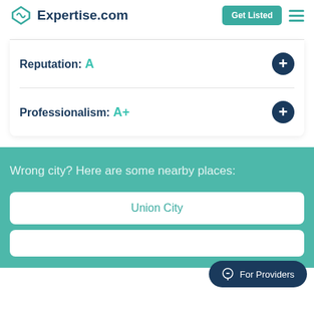Expertise.com | Get Listed
Reputation: A
Professionalism: A+
Wrong city? Here are some nearby places:
Union City
For Providers